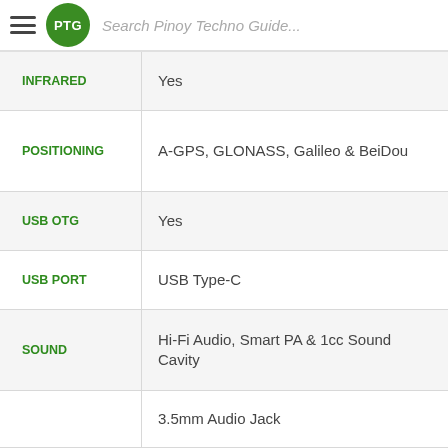PTG Search Pinoy Techno Guide...
| Feature | Value |
| --- | --- |
| INFRARED | Yes |
| POSITIONING | A-GPS, GLONASS, Galileo & BeiDou |
| USB OTG | Yes |
| USB PORT | USB Type-C |
| SOUND | Hi-Fi Audio, Smart PA & 1cc Sound Cavity |
| SOUND | 3.5mm Audio Jack |
| FM RADIO | No |
| BIOMETRICS | Face Recognition & Fingerprint |